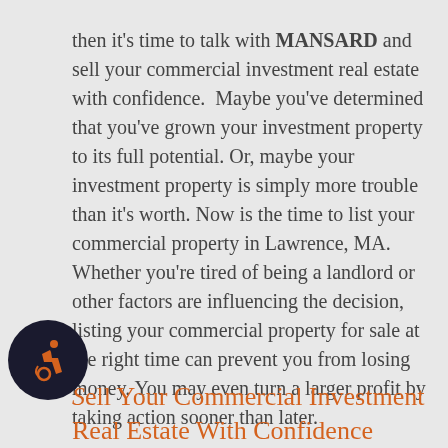then it's time to talk with MANSARD and sell your commercial investment real estate with confidence. Maybe you've determined that you've grown your investment property to its full potential. Or, maybe your investment property is simply more trouble than it's worth. Now is the time to list your commercial property in Lawrence, MA. Whether you're tired of being a landlord or other factors are influencing the decision, listing your commercial property for sale at the right time can prevent you from losing money. You may even turn a larger profit by taking action sooner than later.
Sell Your Commercial Investment Real Estate With Confidence